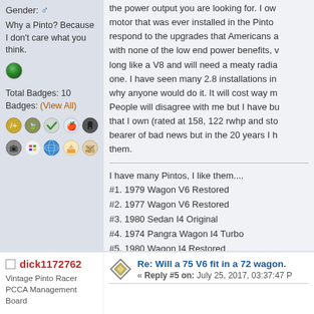Gender: ♂
Why a Pinto? Because I don't care what you think.
Total Badges: 10
Badges: (View All)
[Figure (illustration): Two rows of forum badge icons]
the power output you are looking for. I ow motor that was ever installed in the Pinto respond to the upgrades that Americans a with none of the low end power benefits, v long like a V8 and will need a meaty radia one. I have seen many 2.8 installations in why anyone would do it. It will cost way m People will disagree with me but I have bu that I own (rated at 158, 122 rwhp and sto bearer of bad news but in the 20 years I h them.
I have many Pintos, I like them....
#1. 1979 Wagon V6 Restored
#2. 1977 Wagon V6 Restored
#3. 1980 Sedan I4 Original
#4. 1974 Pangra Wagon I4 Turbo
#5. 1980 Wagon I4 Restored
#6. 1976 Bobcat Squire Hatchback (Restoring)
...Like i said, I like them.
...and I have 4 Fiats.
dick1172762
Vintage Pinto Racer
PCCA Management Board
Re: Will a 75 V6 fit in a 72 wagon.
« Reply #5 on: July 25, 2017, 03:37:47 P